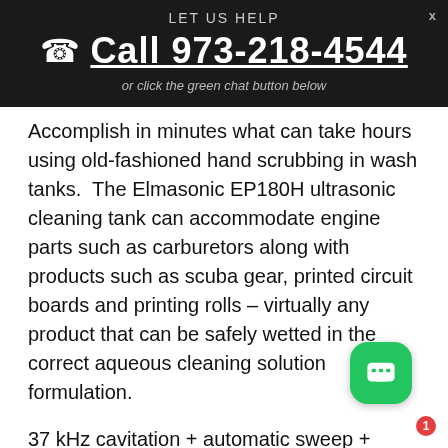LET US HELP
Call 973-218-4544
or click the green chat button below
Accomplish in minutes what can take hours using old-fashioned hand scrubbing in wash tanks. The Elmasonic EP180H ultrasonic cleaning tank can accommodate engine parts such as carburetors along with products such as scuba gear, printed circuit boards and printing rolls – virtually any product that can be safely wetted in the correct aqueous cleaning solution formulation.
37 kHz cavitation + automatic sweep + powerful pulse = efficient ultrasonic cleaning